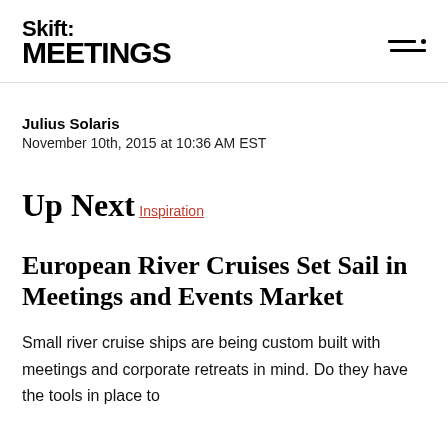Skift MEETINGS
Julius Solaris
November 10th, 2015 at 10:36 AM EST
Up Next
Inspiration
European River Cruises Set Sail in Meetings and Events Market
Small river cruise ships are being custom built with meetings and corporate retreats in mind. Do they have the tools in place to